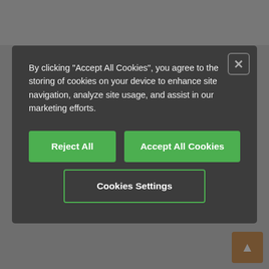[Figure (screenshot): Cookie consent modal overlay on a product page. Dark modal on dimmed background showing: text about cookies, Reject All button, Accept All Cookies button, Cookies Settings button, and a close X button. Background shows product page with UKCA/UL logos, price USD 82.61/Pc., cost-effective price break USD 75.10/Pc. 7 Pc., and 1 variant(s), of which:.]